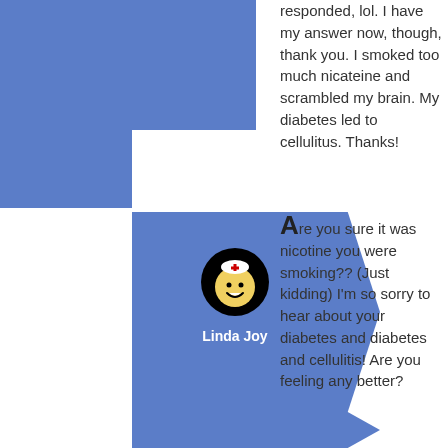responded, lol. I have my answer now, though, thank you. I smoked too much nicateine and scrambled my brain. My diabetes led to cellulitus. Thanks!
[Figure (illustration): Blue decorative panel layout with white inset and arrow/chevron shape]
[Figure (illustration): Circular avatar icon showing a cartoon nurse character with white cap, yellow face, smiling]
Linda Joy
Are you sure it was nicotine you were smoking?? (Just kidding) I'm so sorry to hear about your diabetes and diabetes and cellulitis! Are you feeling any better?